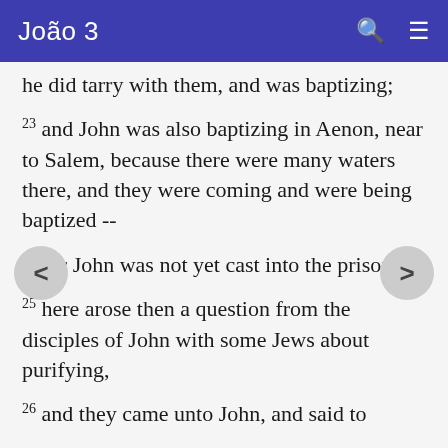João 3
he did tarry with them, and was baptizing;
23 and John was also baptizing in Aenon, near to Salem, because there were many waters there, and they were coming and were being baptized --
24 for John was not yet cast into the prison --
25 there arose then a question from the disciples of John with some Jews about purifying,
26 and they came unto John, and said to